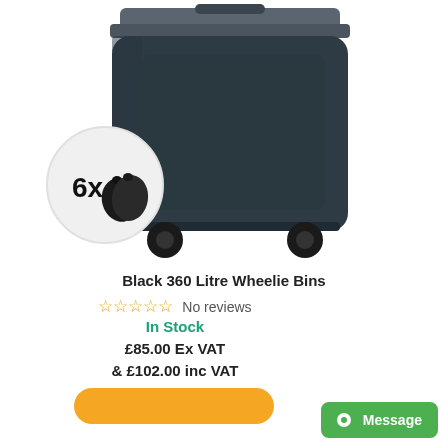[Figure (photo): A dark grey/black 360 litre wheelie bin with grey lid and two wheels. An overlaid circle badge shows '6x' with black bin bag images.]
Black 360 Litre Wheelie Bins
☆☆☆☆☆ No reviews
In Stock
£85.00 Ex VAT
& £102.00 inc VAT
Message